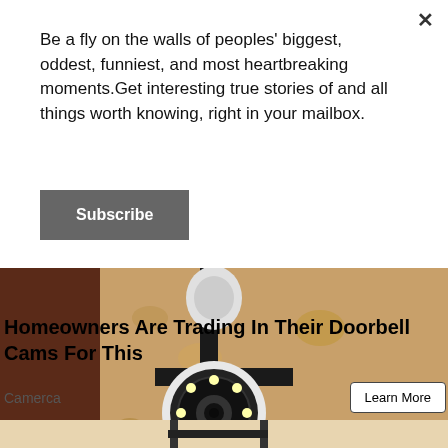Be a fly on the walls of peoples' biggest, oddest, funniest, and most heartbreaking moments.Get interesting true stories of and all things worth knowing, right in your mailbox.
Subscribe
[Figure (photo): Security camera being installed on a rough textured wall, held by a hand, with a black mounting bracket and LED ring visible.]
Homeowners Are Trading In Their Doorbell Cams For This
Camerca
Learn More
[Figure (photo): Partial view of another product image at the bottom of the page.]